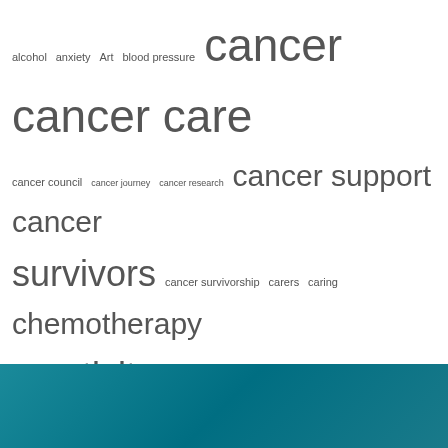[Figure (infographic): Tag cloud with health and cancer-related keywords in varying font sizes indicating frequency/importance, on white background with teal bar at bottom.]